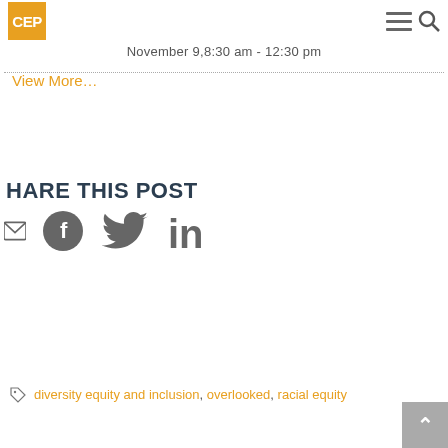CEP
November 9,8:30 am - 12:30 pm
View More…
HARE THIS POST
[Figure (infographic): Social sharing icons: email, Facebook, Twitter, LinkedIn]
diversity equity and inclusion, overlooked, racial equity